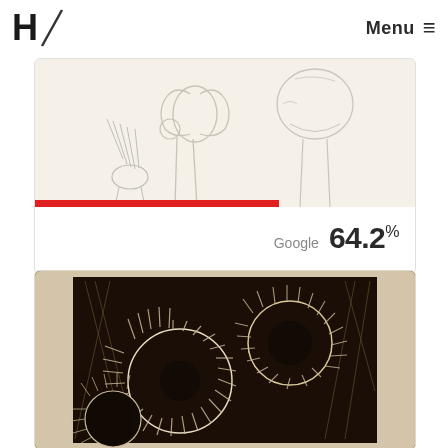H Menu
[Figure (photo): A light-colored pencil or graphite sketch showing bone/skeletal anatomy forms — hip bones and leg bones visible against a cream/off-white background. A red progress bar at the bottom shows 64.2% completion. Below the image: 'Google 64.2%']
Google  64.2%
[Figure (photo): A dark woodcut-style print showing abstract circular/eye-like forms with hatched patterns in black and white/cream tones against a beige border.]